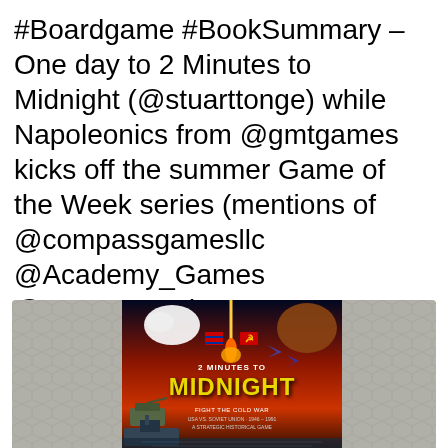#Boardgame #BookSummary – One day to 2 Minutes to Midnight (@stuarttonge) while Napoleonics from @gmtgames kicks off the summer Game of the Week series (mentions of @compassgamesllc @Academy_Games @UNC_Press)
[Figure (photo): Board game box cover for '2 Minutes to Midnight: Fight the Cold War, USA vs. Soviet Union 1946-1991, A Strategic Historical Game' showing dramatic Cold War imagery with an eagle, bear, rocket launch, fighter jets, tanks, and naval vessels against a fiery background. The box has a hexagonal board game map visible in the background as well.]